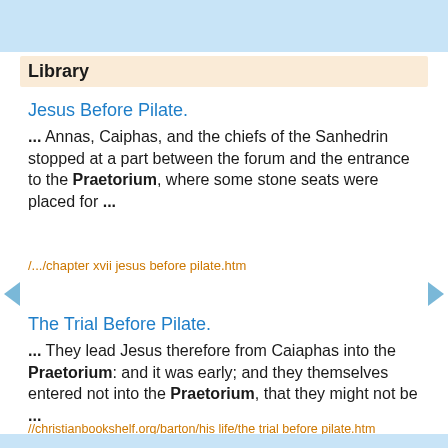Library
Jesus Before Pilate.
... Annas, Caiphas, and the chiefs of the Sanhedrin stopped at a part between the forum and the entrance to the Praetorium, where some stone seats were placed for ...
/.../chapter xvii jesus before pilate.htm
The Trial Before Pilate.
... They lead Jesus therefore from Caiaphas into the Praetorium: and it was early; and they themselves entered not into the Praetorium, that they might not be ...
//christianbookshelf.org/barton/his life/the trial before pilate.htm
The Epistle of Paul the Apostle to the Philippians
rather than Rome. It is "the whole praetorium"